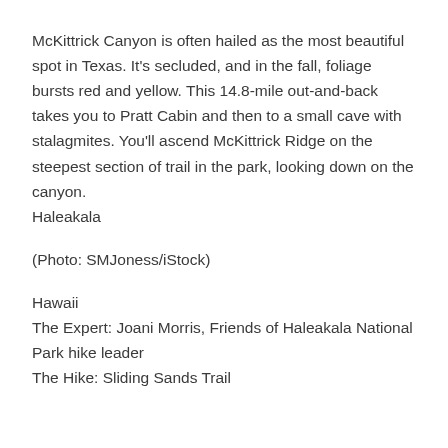McKittrick Canyon is often hailed as the most beautiful spot in Texas. It's secluded, and in the fall, foliage bursts red and yellow. This 14.8-mile out-and-back takes you to Pratt Cabin and then to a small cave with stalagmites. You'll ascend McKittrick Ridge on the steepest section of trail in the park, looking down on the canyon.
Haleakala
(Photo: SMJoness/iStock)
Hawaii
The Expert: Joani Morris, Friends of Haleakala National Park hike leader
The Hike: Sliding Sands Trail